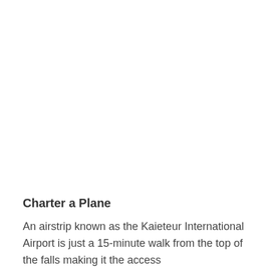Charter a Plane
An airstrip known as the Kaieteur International Airport is just a 15-minute walk from the top of the falls making it the access point for those who choose to...